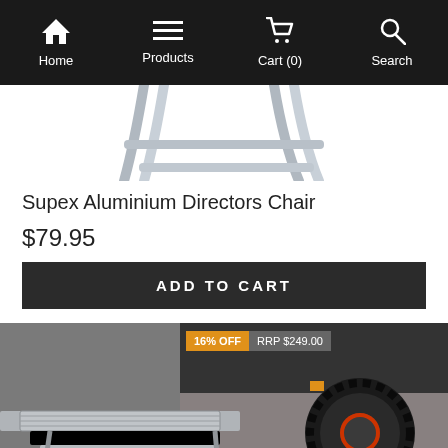Home | Products | Cart (0) | Search
[Figure (photo): Bottom portion of an aluminium directors chair showing chrome tubular frame legs on white background]
Supex Aluminium Directors Chair
$79.95
ADD TO CART
[Figure (photo): Aluminium caravan/RV step with a vehicle tyre visible in the background; badge shows 16% OFF and RRP $249.00]